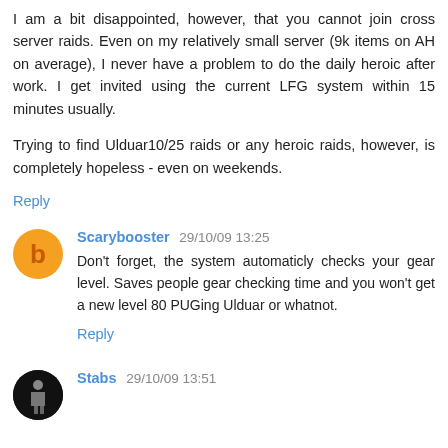I am a bit disappointed, however, that you cannot join cross server raids. Even on my relatively small server (9k items on AH on average), I never have a problem to do the daily heroic after work. I get invited using the current LFG system within 15 minutes usually.
Trying to find Ulduar10/25 raids or any heroic raids, however, is completely hopeless - even on weekends.
Reply
Scarybooster 29/10/09 13:25
Don't forget, the system automaticly checks your gear level. Saves people gear checking time and you won't get a new level 80 PUGing Ulduar or whatnot.
Reply
Stabs 29/10/09 13:51